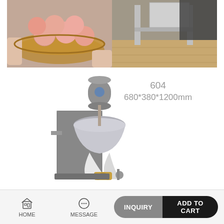[Figure (photo): Top composite image: left side shows meatballs in a bamboo steamer held by hands; right side shows stainless steel meatball forming machine frame on wooden floor]
[Figure (photo): Meatball forming machine model 604, dimensions 680x380x1200mm, showing the full machine with motor, mixing bowl, funnel and brass nozzle mechanism]
604
680*380*1200mm
HOME   MESSAGE   INQUIRY   ADD TO CART